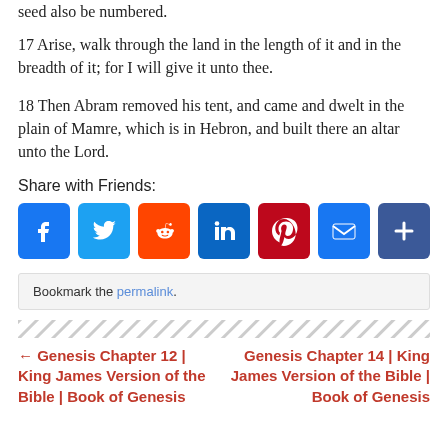seed also be numbered.
17 Arise, walk through the land in the length of it and in the breadth of it; for I will give it unto thee.
18 Then Abram removed his tent, and came and dwelt in the plain of Mamre, which is in Hebron, and built there an altar unto the Lord.
Share with Friends:
[Figure (infographic): Social sharing buttons: Facebook, Twitter, Reddit, LinkedIn, Pinterest, Email, Share]
Bookmark the permalink.
[Figure (infographic): Diagonal hatch divider bar]
← Genesis Chapter 12 | King James Version of the Bible | Book of Genesis
Genesis Chapter 14 | King James Version of the Bible | Book of Genesis